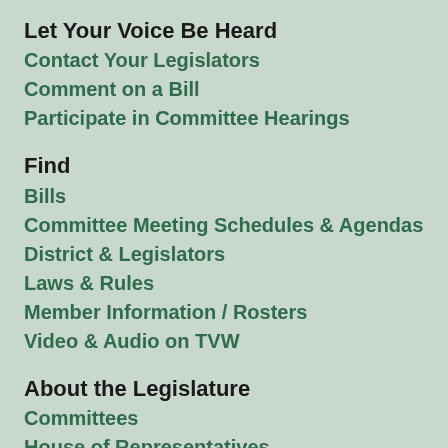Let Your Voice Be Heard
Contact Your Legislators
Comment on a Bill
Participate in Committee Hearings
Find
Bills
Committee Meeting Schedules & Agendas
District & Legislators
Laws & Rules
Member Information / Rosters
Video & Audio on TVW
About the Legislature
Committees
House of Representatives
Legislative Agencies